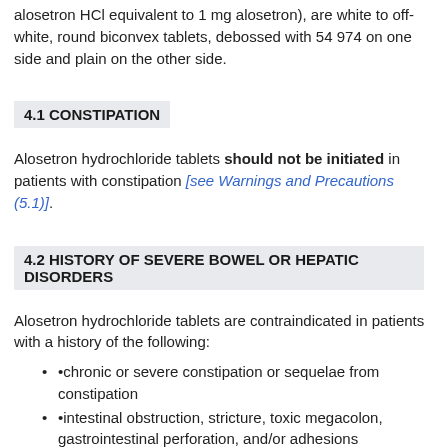alosetron HCl equivalent to 1 mg alosetron), are white to off-white, round biconvex tablets, debossed with 54 974 on one side and plain on the other side.
4.1 CONSTIPATION
Alosetron hydrochloride tablets should not be initiated in patients with constipation [see Warnings and Precautions (5.1)].
4.2 HISTORY OF SEVERE BOWEL OR HEPATIC DISORDERS
Alosetron hydrochloride tablets are contraindicated in patients with a history of the following:
•chronic or severe constipation or sequelae from constipation
•intestinal obstruction, stricture, toxic megacolon, gastrointestinal perforation, and/or adhesions